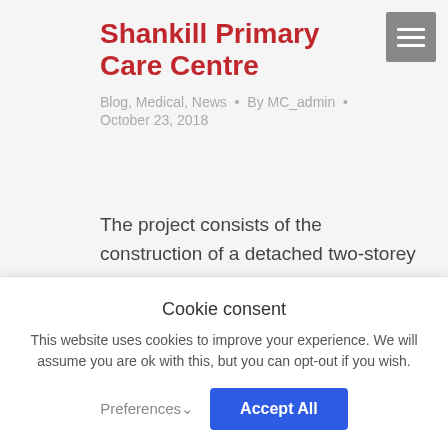Shankill Primary Care Centre
Blog, Medical, News · By MC_admin · October 23, 2018
The project consists of the construction of a detached two-storey primary care centre with all associated site services, boundaries and landscaping. It is of cavity wall construction with precast concrete first floor
Cookie consent
This website uses cookies to improve your experience. We will assume you are ok with this, but you can opt-out if you wish.